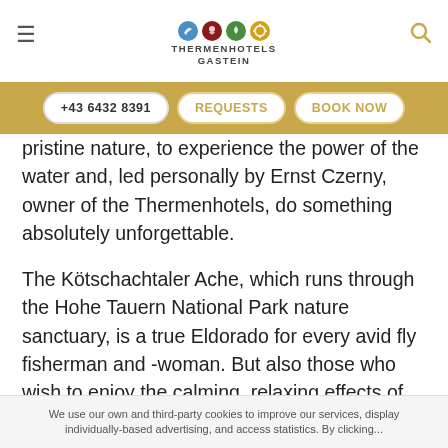THERMENHOTELS GASTEIN
+43 6432 8391   REQUESTS   BOOK NOW
pristine nature, to experience the power of the water and, led personally by Ernst Czerny, owner of the Thermenhotels, do something absolutely unforgettable.
The Kötschachtaler Ache, which runs through the Hohe Tauern National Park nature sanctuary, is a true Eldorado for every avid fly fisherman and -woman. But also those who wish to enjoy the calming, relaxing effects of this sport for the first time, or want to share their personal childhood memories with their own youngsters, have the unique opportunity in the Czerny family's private fishing waters, with a bit of expert assistance, to
We use our own and third-party cookies to improve our services, display individually-based advertising, and access statistics. By clicking...